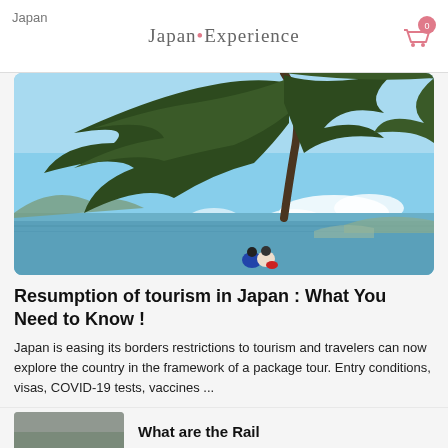Japan • Experience
[Figure (photo): A scenic coastal scene in Japan with two people sitting by the sea, a large pine tree in the foreground, islands and mountains in the background under a blue sky with clouds.]
Resumption of tourism in Japan : What You Need to Know !
Japan is easing its borders restrictions to tourism and travelers can now explore the country in the framework of a package tour. Entry conditions, visas, COVID-19 tests, vaccines ...
See the article